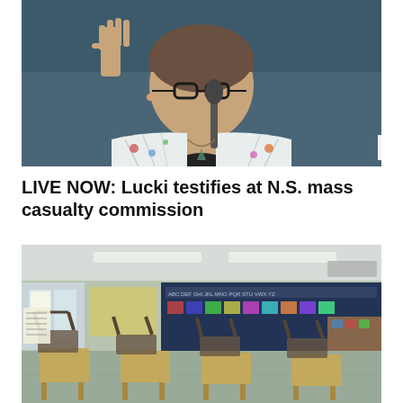[Figure (photo): Woman with glasses and patterned jacket (zebra print) raising her hand, speaking at a microphone at what appears to be a commission hearing. Background is dark teal/blue.]
LIVE NOW: Lucki testifies at N.S. mass casualty commission
[Figure (photo): Empty classroom with chairs stacked on desks, colorful bulletin boards visible in the background, windows on the left side.]